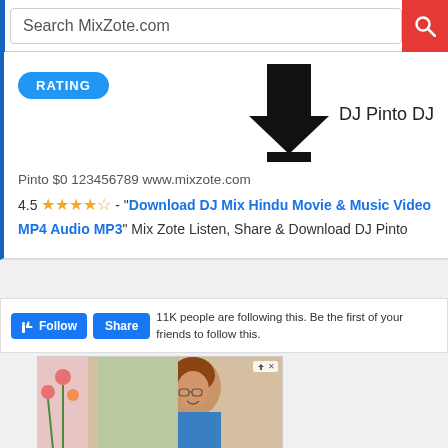Search MixZote.com
[Figure (screenshot): MixZote website dropdown search result card with RATING button, large download arrow icon, DJ Pinto DJ label, rating 4.5 stars, and link to Download DJ Mix Hindu Movie & Music Video MP4 Audio MP3]
Pinto $0 123456789 www.mixzote.com
4.5 ★★★★½ - "Download DJ Mix Hindu Movie & Music Video MP4 Audio MP3" Mix Zote Listen, Share & Download DJ Pinto
11K people are following this. Be the first of your friends to follow this.
[Figure (photo): Advertisement photo of a smiling woman with curly red hair wearing a blue shirt, appearing to paint]